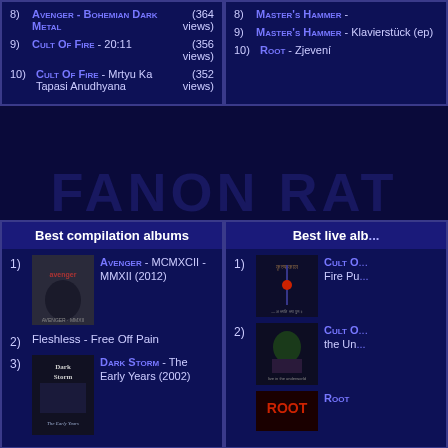8) Avenger - Bohemian Dark Metal (364 views)
9) Cult Of Fire - 20:11 (356 views)
10) Cult Of Fire - Mrtyu Ka Tapasi Anudhyana (352 views)
8) Master's Hammer -
9) Master's Hammer - Klavierstück (ep)
10) Root - Zjevení
Best compilation albums
1) Avenger - MCMXCII - MMXII (2012)
2) Fleshless - Free Off Pain
3) Dark Storm - The Early Years (2002)
Best live alb...
1) Cult O... Fire Pu...
2) Cult O... the Un...
Root